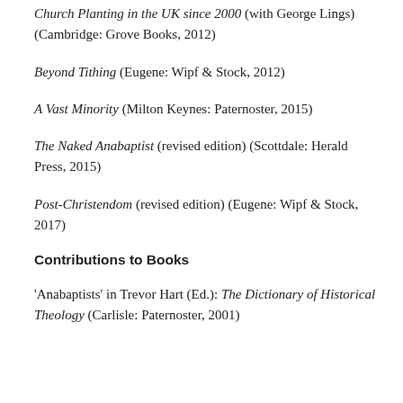Church Planting in the UK since 2000 (with George Lings) (Cambridge: Grove Books, 2012)
Beyond Tithing (Eugene: Wipf & Stock, 2012)
A Vast Minority (Milton Keynes: Paternoster, 2015)
The Naked Anabaptist (revised edition) (Scottdale: Herald Press, 2015)
Post-Christendom (revised edition) (Eugene: Wipf & Stock, 2017)
Contributions to Books
'Anabaptists' in Trevor Hart (Ed.): The Dictionary of Historical Theology (Carlisle: Paternoster, 2001)